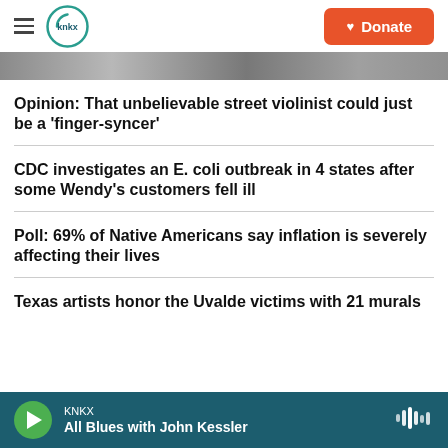KNKX — Donate
[Figure (photo): Partial grayscale photo visible at top of page]
Opinion: That unbelievable street violinist could just be a 'finger-syncer'
CDC investigates an E. coli outbreak in 4 states after some Wendy's customers fell ill
Poll: 69% of Native Americans say inflation is severely affecting their lives
Texas artists honor the Uvalde victims with 21 murals
KNKX — All Blues with John Kessler